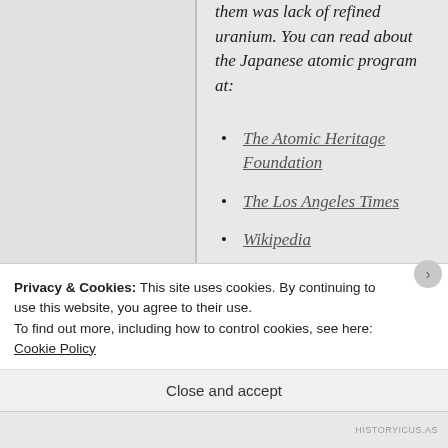them was lack of refined uranium. You can read about the Japanese atomic program at:
The Atomic Heritage Foundation
The Los Angeles Times
Wikipedia
You may also want to read
Privacy & Cookies: This site uses cookies. By continuing to use this website, you agree to their use.
To find out more, including how to control cookies, see here: Cookie Policy
Close and accept